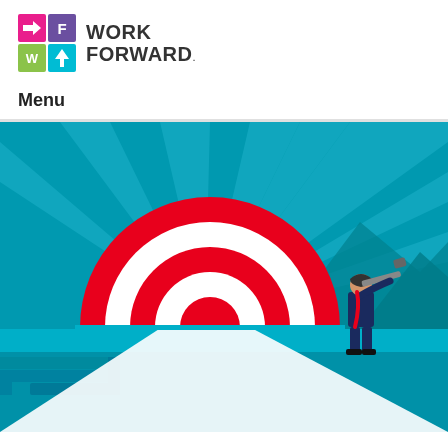[Figure (logo): Work Forward logo with 2x2 colored icon grid (pink arrow, purple F, green W, teal up-arrow) and WORK FORWARD text]
Menu
[Figure (illustration): Teal/blue illustrated scene with a bullseye target rising above a horizon with rays of light, a white beam pointing toward viewer, mountain silhouettes in background, and a businessman in dark suit looking through a telescope in the foreground right]